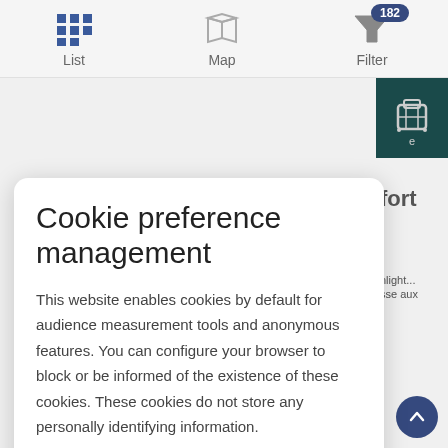[Figure (screenshot): Navigation bar with List (grid icon), Map (map icon), and Filter (funnel icon with badge 182)]
[Figure (screenshot): Dark teal banner with French text about discovery and dates in orange: Mardi 12 et Mardi 26 juillet/ Mardi 9 et 23 août 2022]
Cookie preference management
This website enables cookies by default for audience measurement tools and anonymous features. You can configure your browser to block or be informed of the existence of these cookies. These cookies do not store any personally identifying information.
Read more
No thanks
I choose
Ok for me